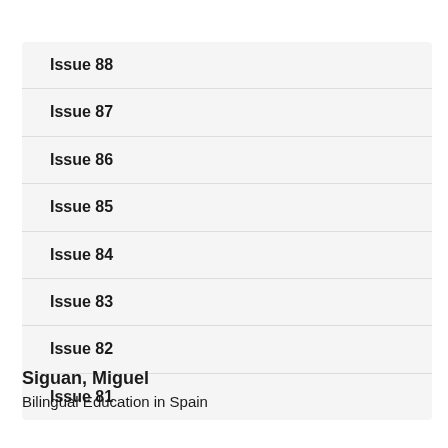Issue 88
Issue 87
Issue 86
Issue 85
Issue 84
Issue 83
Issue 82
Issue 81
Siguan, Miguel
Bilingual Education in Spain